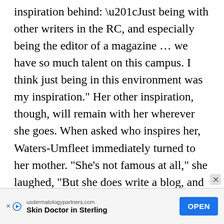inspiration behind: “Just being with other writers in the RC, and especially being the editor of a magazine … we have so much talent on this campus. I think just being in this environment was my inspiration.” Her other inspiration, though, will remain with her wherever she goes. When asked who inspires her, Waters-Umfleet immediately turned to her mother. “She’s not famous at all,” she laughed, “But she does write a blog, and I think we both have kind of the same understated style. Like, what we’re saying is not what we’re really saying, and it relies on the reader to draw some inferences.”
[Figure (other): Advertisement banner: usdermatologypartners.com — Skin Doctor in Sterling — OPEN button]